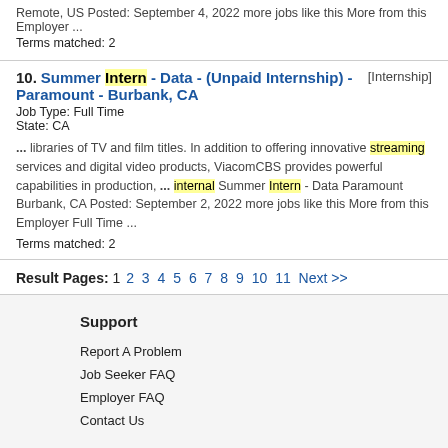Remote, US Posted: September 4, 2022 more jobs like this More from this Employer ...
Terms matched: 2
10. Summer Intern - Data - (Unpaid Internship) - Paramount - Burbank, CA [Internship]
Job Type: Full Time
State: CA
... libraries of TV and film titles. In addition to offering innovative streaming services and digital video products, ViacomCBS provides powerful capabilities in production, ... internal Summer Intern - Data Paramount Burbank, CA Posted: September 2, 2022 more jobs like this More from this Employer Full Time ...
Terms matched: 2
Result Pages: 1 2 3 4 5 6 7 8 9 10 11 Next >>
Support
Report A Problem
Job Seeker FAQ
Employer FAQ
Contact Us